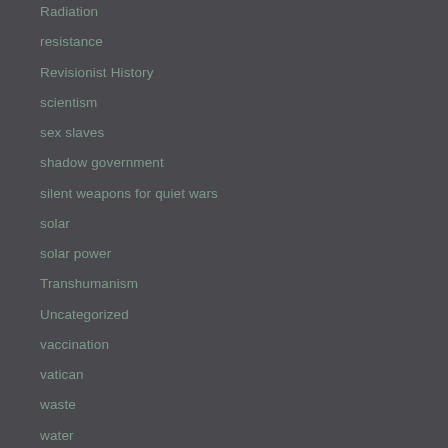Radiation
resistance
Revisionist History
scientism
sex slaves
shadow government
silent weapons for quiet wars
solar
solar power
Transhumanism
Uncategorized
vaccination
vatican
waste
water